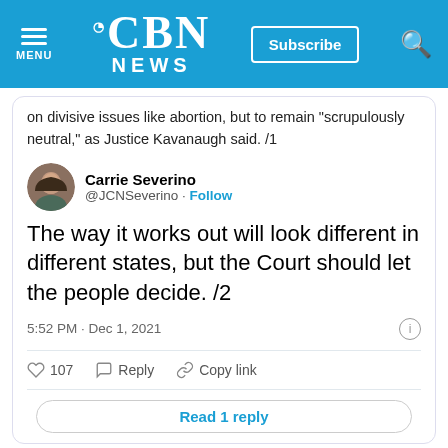CBN NEWS
on divisive issues like abortion, but to remain "scrupulously neutral," as Justice Kavanaugh said. /1
Carrie Severino @JCNSeverino · Follow
The way it works out will look different in different states, but the Court should let the people decide. /2
5:52 PM · Dec 1, 2021
107  Reply  Copy link
Read 1 reply
In a commentary for Fox News, Severino wrote, "The conventional wisdom is that overturning